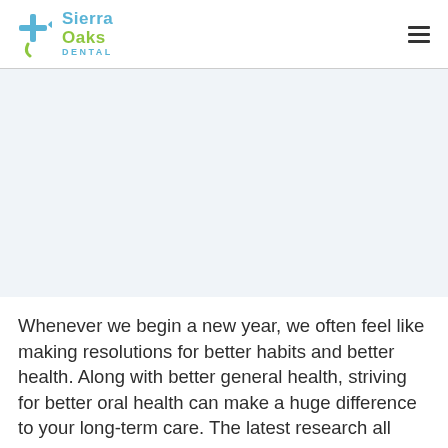Sierra Oaks Dental
[Figure (photo): Large hero image area, appears white/light gray placeholder for a dental or new year related photo]
Whenever we begin a new year, we often feel like making resolutions for better habits and better health. Along with better general health, striving for better oral health can make a huge difference to your long-term care. The latest research all